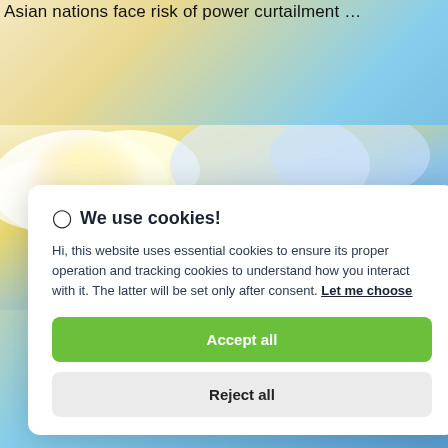Asian nations face risk of power curtailment …
[Figure (photo): Partial view of sky and cloud photo visible behind cookie consent modal]
🍪 We use cookies!
Hi, this website uses essential cookies to ensure its proper operation and tracking cookies to understand how you interact with it. The latter will be set only after consent. Let me choose
Accept all
Reject all